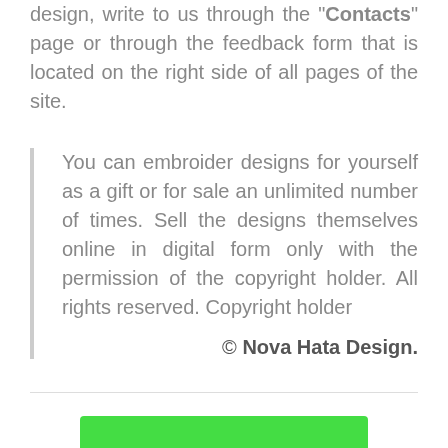design, write to us through the "Contacts" page or through the feedback form that is located on the right side of all pages of the site.
You can embroider designs for yourself as a gift or for sale an unlimited number of times. Sell the designs themselves online in digital form only with the permission of the copyright holder. All rights reserved. Copyright holder
© Nova Hata Design.